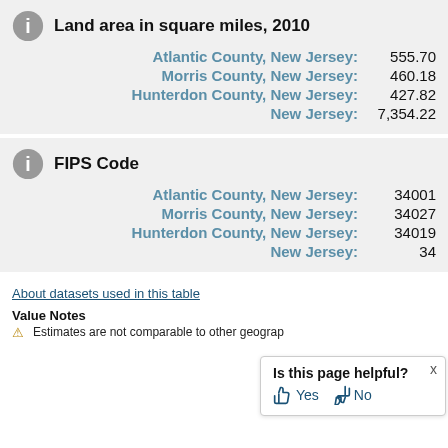Land area in square miles, 2010
| Location | Value |
| --- | --- |
| Atlantic County, New Jersey: | 555.70 |
| Morris County, New Jersey: | 460.18 |
| Hunterdon County, New Jersey: | 427.82 |
| New Jersey: | 7,354.22 |
FIPS Code
| Location | Value |
| --- | --- |
| Atlantic County, New Jersey: | 34001 |
| Morris County, New Jersey: | 34027 |
| Hunterdon County, New Jersey: | 34019 |
| New Jersey: | 34 |
About datasets used in this table
Value Notes
Estimates are not comparable to other geograp